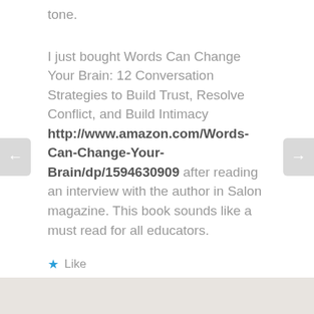tone.
I just bought Words Can Change Your Brain: 12 Conversation Strategies to Build Trust, Resolve Conflict, and Build Intimacy http://www.amazon.com/Words-Can-Change-Your-Brain/dp/1594630909 after reading an interview with the author in Salon magazine. This book sounds like a must read for all educators.
★ Like
↳ REPLY
DECEMBER 5, 2012 AT 11:29 AM